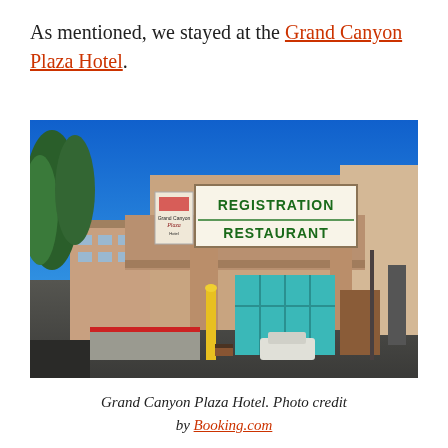As mentioned, we stayed at the Grand Canyon Plaza Hotel.
[Figure (photo): Exterior photo of the Grand Canyon Plaza Hotel entrance showing the registration and restaurant sign, teal glass doors, a canopy, yellow bollard, red curb, trees on the left, and a clear blue sky.]
Grand Canyon Plaza Hotel. Photo credit by Booking.com